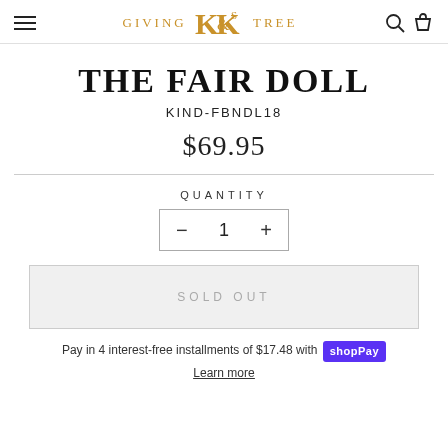Giving K&K's Tree
THE FAIR DOLL
KIND-FBNDL18
$69.95
QUANTITY
SOLD OUT
Pay in 4 interest-free installments of $17.48 with shop Pay
Learn more